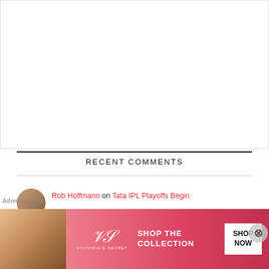[Figure (other): White empty content area with light border — top portion of webpage]
RECENT COMMENTS
Rob Hoffmann on Tata IPL Playoffs Begin
[Figure (other): Victoria's Secret advertisement banner with model photo, VS logo, 'SHOP THE COLLECTION' text, and 'SHOP NOW' call-to-action button on pink/red gradient background]
Advertisements